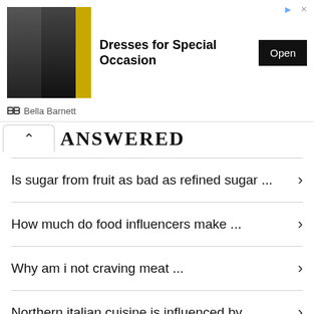[Figure (screenshot): Advertisement banner for Bella Barnett showing dresses for special occasions with an Open button]
ANSWERED
Is sugar from fruit as bad as refined sugar ...
How much do food influencers make ...
Why am i not craving meat ...
Northern italian cuisine is influenced by